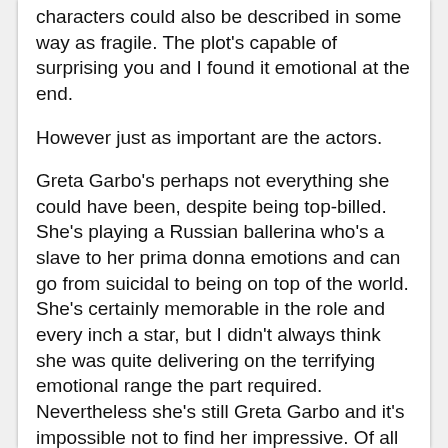characters could also be described in some way as fragile. The plot's capable of surprising you and I found it emotional at the end.
However just as important are the actors.
Greta Garbo's perhaps not everything she could have been, despite being top-billed. She's playing a Russian ballerina who's a slave to her prima donna emotions and can go from suicidal to being on top of the world. She's certainly memorable in the role and every inch a star, but I didn't always think she was quite delivering on the terrifying emotional range the part required. Nevertheless she's still Greta Garbo and it's impossible not to find her impressive. Of all the fragility in this film, hers is the most frightening. Her elation is both beautiful and slightly scary in how hard she'd take it if anything went wrong.
Joan Crawford, on the other hand, is... oh, my God. That face. I'm in awe. She